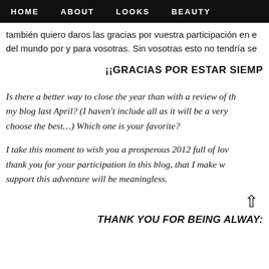HOME  ABOUT  LOOKS  BEAUTY
también quiero daros las gracias por vuestra participación en e del mundo por y para vosotras. Sin vosotras esto no tendría se
¡¡GRACIAS POR ESTAR SIEMP
Is there a better way to close the year than with a review of th my blog last April? (I haven't include all as it will be a very choose the best…) Which one is your favorite?
I take this moment to wish you a prosperous 2012 full of lov thank you for your participation in this blog, that I make w support this adventure will be meaningless.
THANK YOU FOR BEING ALWAY: